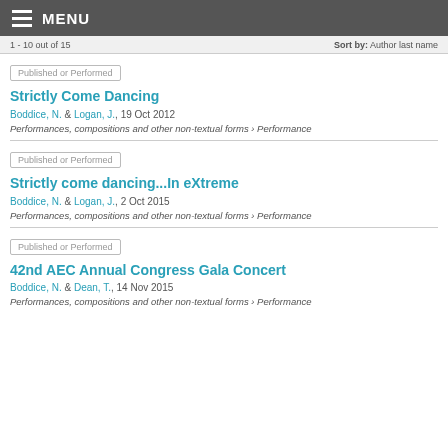MENU
1 - 10 out of 15   Sort by: Author last name
Published or Performed
Strictly Come Dancing
Boddice, N. & Logan, J., 19 Oct 2012
Performances, compositions and other non-textual forms › Performance
Published or Performed
Strictly come dancing...In eXtreme
Boddice, N. & Logan, J., 2 Oct 2015
Performances, compositions and other non-textual forms › Performance
Published or Performed
42nd AEC Annual Congress Gala Concert
Boddice, N. & Dean, T., 14 Nov 2015
Performances, compositions and other non-textual forms › Performance